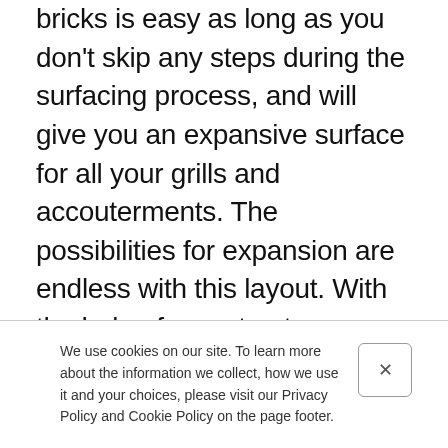bricks is easy as long as you don't skip any steps during the surfacing process, and will give you an expansive surface for all your grills and accouterments. The possibilities for expansion are endless with this layout. With the help of a contractor, you could get a roof with lighting installed so that you can grill even when it isn't sunny, and can even get a sink installed to make cleanup easier. If you want to go all out with the authentic brick feel, consider using the bricks you'll have leftover to build a beautiful wood-fired brick oven. After all,
We use cookies on our site. To learn more about the information we collect, how we use it and your choices, please visit our Privacy Policy and Cookie Policy on the page footer.